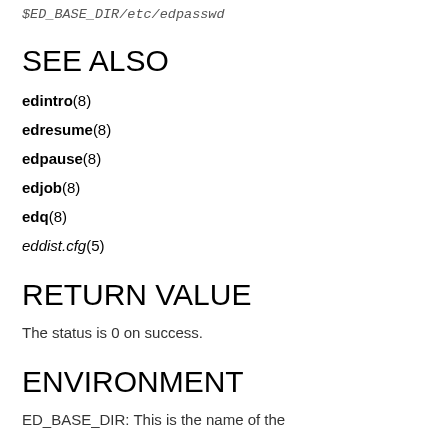$ED_BASE_DIR/etc/edpasswd
SEE ALSO
edintro(8)
edresume(8)
edpause(8)
edjob(8)
edq(8)
eddist.cfg(5)
RETURN VALUE
The status is 0 on success.
ENVIRONMENT
ED_BASE_DIR: This is the name of the